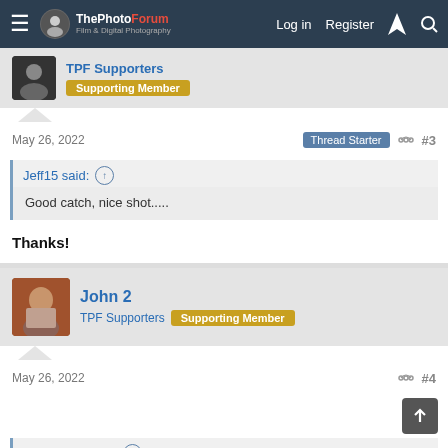The PhotoForum — Log in | Register
TPF Supporters | Supporting Member
May 26, 2022    Thread Starter    #3
Jeff15 said: ↑
Good catch, nice shot.....
Thanks!
John 2
TPF Supporters | Supporting Member
May 26, 2022    #4
jeffashman said: ↑